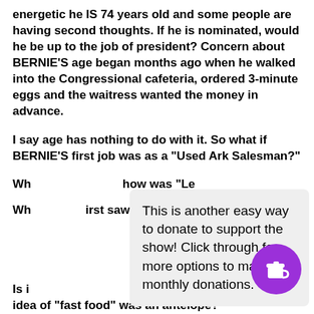energetic he IS 74 years old and some people are having second thoughts. If he is nominated, would he be up to the job of president? Concern about BERNIE'S age began months ago when he walked into the Congressional cafeteria, ordered 3-minute eggs and the waitress wanted the money in advance.
I say age has nothing to do with it. So what if BERNIE'S first job was as a "Used Ark Salesman?"
Wh... how was "Le...
Wh... first saw PET... Bet...
Is it... an h... idea of "fast food" was an antelope?
This is another easy way to donate to support the show! Click through for more options to make monthly donations.
[Figure (illustration): Purple circular button with white coffee cup icon (Buy Me a Coffee widget)]